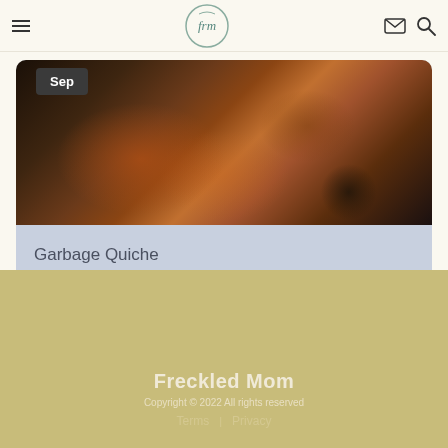Freckled Mom - navigation header with logo, hamburger menu, email and search icons
[Figure (photo): Dark moody overhead photo of a rustic quiche or pizza in parchment paper on a dark background with a date badge reading 'Sep']
Garbage Quiche
Freckled Mom
Copyright © 2022 All rights reserved
Terms | Privacy